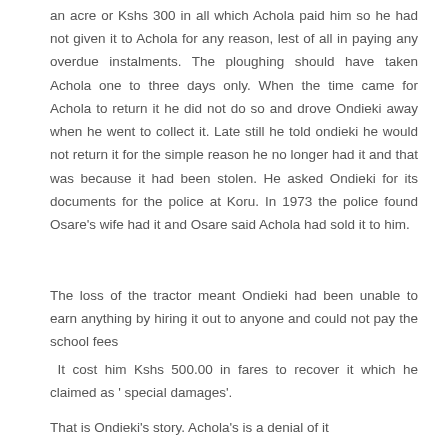an acre or Kshs 300 in all which Achola paid him so he had not given it to Achola for any reason, lest of all in paying any overdue instalments. The ploughing should have taken Achola one to three days only. When the time came for Achola to return it he did not do so and drove Ondieki away when he went to collect it. Late still he told ondieki he would not return it for the simple reason he no longer had it and that was because it had been stolen. He asked Ondieki for its documents for the police at Koru. In 1973 the police found Osare's wife had it and Osare said Achola had sold it to him.
The loss of the tractor meant Ondieki had been unable to earn anything by hiring it out to anyone and could not pay the school fees
It cost him Kshs 500.00 in fares to recover it which he claimed as ' special damages'.
That is Ondieki's story. Achola's is a denial of it